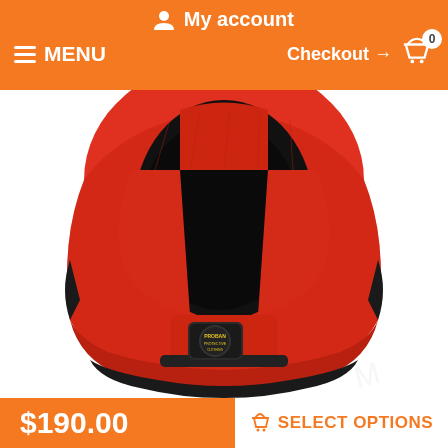My account
MENU   Checkout → 0
[Figure (photo): Red protective welding hood/balaclava with black trim and a brand patch/badge on the neck area, displayed on a white background.]
$190.00   SELECT OPTIONS